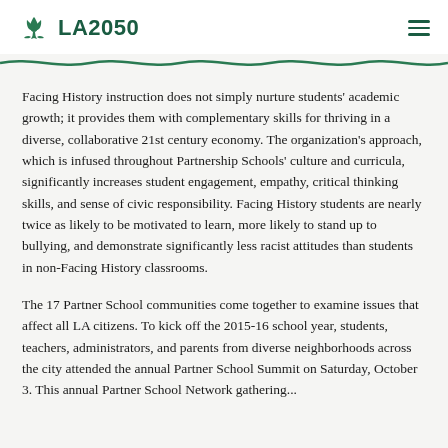LA2050
Facing History instruction does not simply nurture students' academic growth; it provides them with complementary skills for thriving in a diverse, collaborative 21st century economy. The organization's approach, which is infused throughout Partnership Schools' culture and curricula, significantly increases student engagement, empathy, critical thinking skills, and sense of civic responsibility. Facing History students are nearly twice as likely to be motivated to learn, more likely to stand up to bullying, and demonstrate significantly less racist attitudes than students in non-Facing History classrooms.
The 17 Partner School communities come together to examine issues that affect all LA citizens. To kick off the 2015-16 school year, students, teachers, administrators, and parents from diverse neighborhoods across the city attended the annual Partner School Summit on Saturday, October 3. This annual Partner School Network gathering...